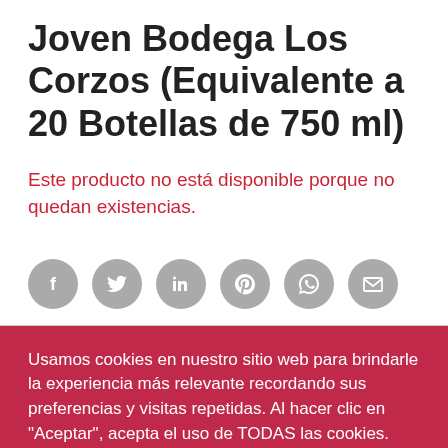Joven Bodega Los Corzos (Equivalente a 20 Botellas de 750 ml)
Este producto no está disponible porque no quedan existencias.
[Figure (infographic): Row of six social share icon circles (grey): Facebook, Twitter, LinkedIn, Pinterest, WhatsApp, Email]
Usamos cookies en nuestro sitio web para brindarle la experiencia más relevante recordando sus preferencias y visitas repetidas. Al hacer clic en "Aceptar", acepta el uso de TODAS las cookies.
Ajustes   Aceptar